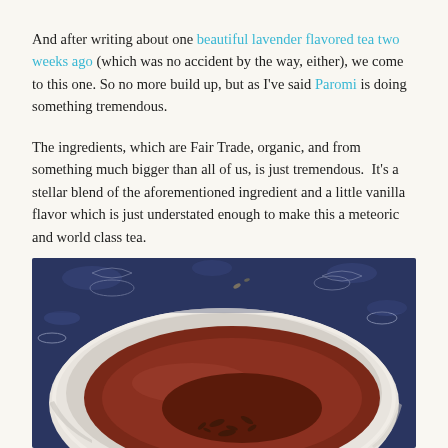And after writing about one beautiful lavender flavored tea two weeks ago (which was no accident by the way, either), we come to this one. So no more build up, but as I've said Paromi is doing something tremendous.
The ingredients, which are Fair Trade, organic, and from something much bigger than all of us, is just tremendous.  It's a stellar blend of the aforementioned ingredient and a little vanilla flavor which is just understated enough to make this a meteoric and world class tea.
[Figure (photo): Close-up overhead photo of a white ceramic cup filled with dark reddish-brown tea with loose tea leaves visible at the bottom, set on a blue and white floral patterned fabric/tablecloth.]